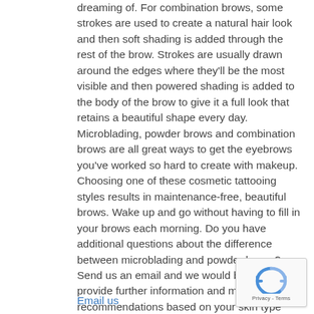dreaming of. For combination brows, some strokes are used to create a natural hair look and then soft shading is added through the rest of the brow. Strokes are usually drawn around the edges where they'll be the most visible and then powered shading is added to the body of the brow to give it a full look that retains a beautiful shape every day. Microblading, powder brows and combination brows are all great ways to get the eyebrows you've worked so hard to create with makeup. Choosing one of these cosmetic tattooing styles results in maintenance-free, beautiful brows. Wake up and go without having to fill in your brows each morning. Do you have additional questions about the difference between microblading and powder brows? Send us an email and we would be happy to provide further information and make recommendations based on your skin type and your desired results.
Email us
[Figure (other): reCAPTCHA badge with circular arrow icon and Privacy - Terms text]